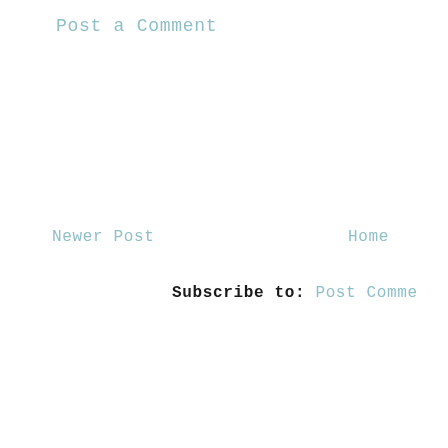Post a Comment
Newer Post
Home
Subscribe to: Post Comments